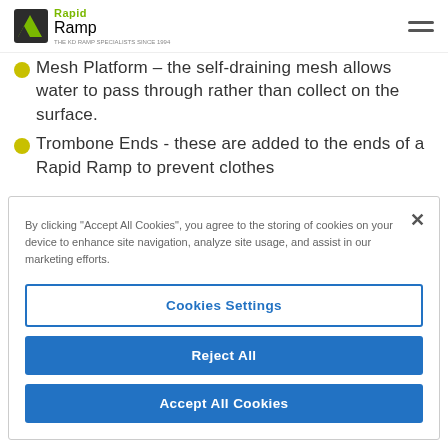Rapid Ramp
Mesh Platform – the self-draining mesh allows water to pass through rather than collect on the surface.
Trombone Ends - these are added to the ends of a Rapid Ramp to prevent clothes...
By clicking "Accept All Cookies", you agree to the storing of cookies on your device to enhance site navigation, analyze site usage, and assist in our marketing efforts.
Cookies Settings
Reject All
Accept All Cookies